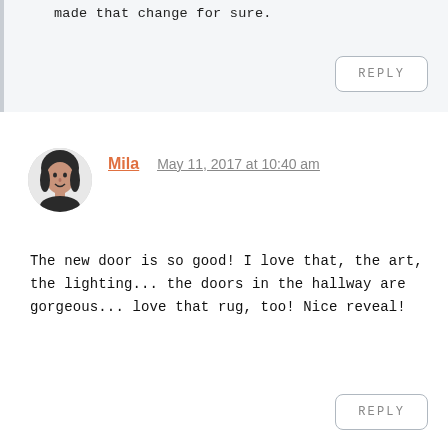made that change for sure.
REPLY
Mila   May 11, 2017 at 10:40 am
The new door is so good! I love that, the art, the lighting... the doors in the hallway are gorgeous... love that rug, too! Nice reveal!
REPLY